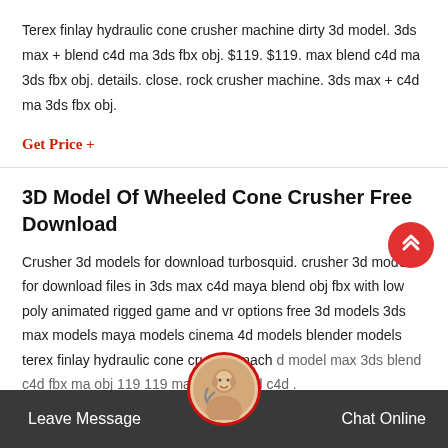Terex finlay hydraulic cone crusher machine dirty 3d model. 3ds max + blend c4d ma 3ds fbx obj. $119. $119. max blend c4d ma 3ds fbx obj. details. close. rock crusher machine. 3ds max + c4d ma 3ds fbx obj.
Get Price +
3D Model Of Wheeled Cone Crusher Free Download
Crusher 3d models for download turbosquid. crusher 3d models for download files in 3ds max c4d maya blend obj fbx with low poly animated rigged game and vr options free 3d models 3ds max models maya models cinema 4d models blender models terex finlay hydraulic cone crusher mach d model max 3ds blend c4d fbx ma obj 119 119 max 3ds blend c4d .
Leave Message   Chat Online